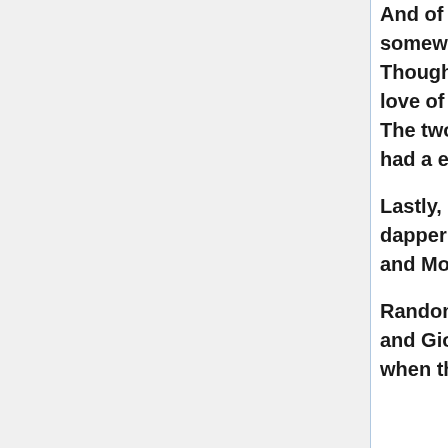And of course it was well known that Delwin and Sand were somewhere in shadow, avoiding the whole lot of the kinship. Though Benedict had found a son of Delwin's, Vance, who had a love of baseball, military endeavors, going fast & flying things. The two of them became thick as thieves and suddenly Amber had a entire Star Fleet.
Lastly, Rebma sent their new Ambassador in the person of the dapper Rene Mior Royi, who happened to be the son of Corwin and Moire.
Random told a small gathering about his own full siblings, Mirelle and Giovanni. This caused Gerard, Caine and Julian to bristle when they were reminded these two probably still